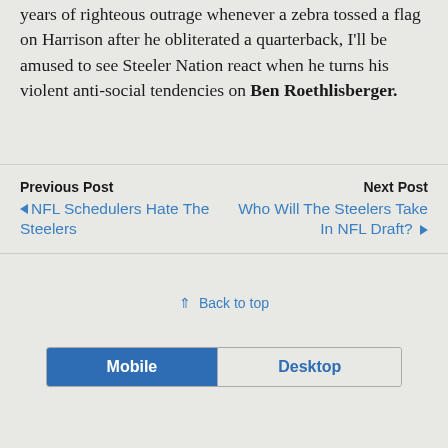years of righteous outrage whenever a zebra tossed a flag on Harrison after he obliterated a quarterback, I'll be amused to see Steeler Nation react when he turns his violent anti-social tendencies on Ben Roethlisberger.
Previous Post
◀ NFL Schedulers Hate The Steelers
Next Post
Who Will The Steelers Take In NFL Draft? ▶
⇑ Back to top
Mobile | Desktop